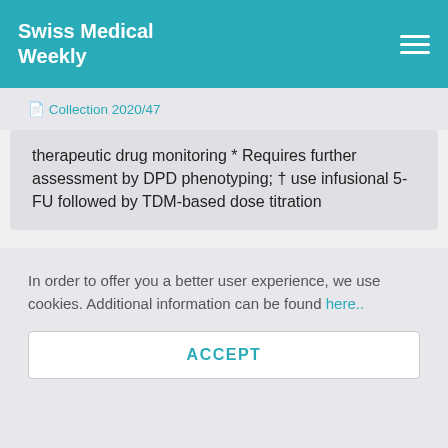Swiss Medical Weekly
📄 Collection 2020/47
therapeutic drug monitoring * Requires further assessment by DPD phenotyping; † use infusional 5-FU followed by TDM-based dose titration
Another discrepancy between these guidelines is that the CPIC does not give any recommendation on
In order to offer you a better user experience, we use cookies. Additional information can be found here..
ACCEPT